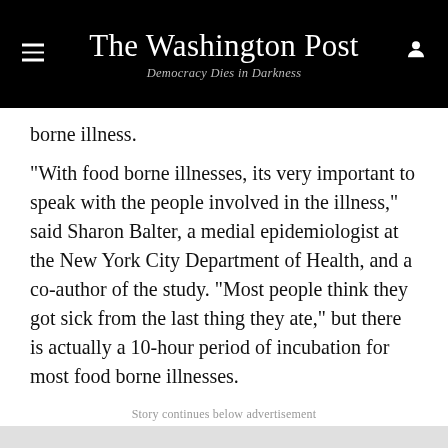The Washington Post
Democracy Dies in Darkness
borne illness.
"With food borne illnesses, its very important to speak with the people involved in the illness," said Sharon Balter, a medial epidemiologist at the New York City Department of Health, and a co-author of the study. "Most people think they got sick from the last thing they ate," but there is actually a 10-hour period of incubation for most food borne illnesses.
Story continues below advertisement